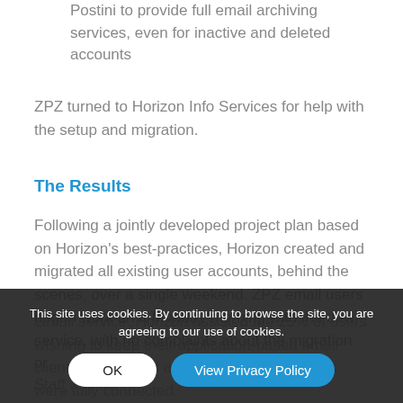Postini to provide full email archiving services, even for inactive and deleted accounts
ZPZ turned to Horizon Info Services for help with the setup and migration.
The Results
Following a jointly developed project plan based on Horizon's best-practices, Horizon created and migrated all existing user accounts, behind the scenes, over a single weekend.  ZPZ email users began work on a Monday morning with the new service, with no complaints about the migration or Gmail service.  Horizon assisted the 25% of users wishing to keep their application-based email client and ensured all iPhone and iPad users were fully connected.
Staff and freelancers outside Google's broader
This site uses cookies. By continuing to browse the site, you are agreeing to our use of cookies.